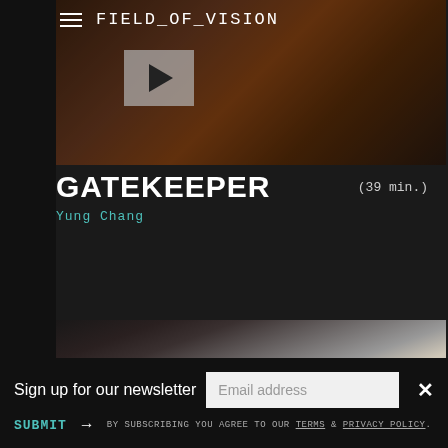FIELD_OF_VISION
[Figure (screenshot): Video thumbnail showing a man looking through binoculars, wearing a red and grey jacket, outdoors. Has a play button overlay in the top-left area of the video.]
GATEKEEPER
(39 min.)
Yung Chang
[Figure (screenshot): Video thumbnail showing a woman with dark hair smiling, indoor setting with tiled wall background.]
Sign up for our newsletter
Email address
SUBMIT
BY SUBSCRIBING YOU AGREE TO OUR TERMS & PRIVACY POLICY.